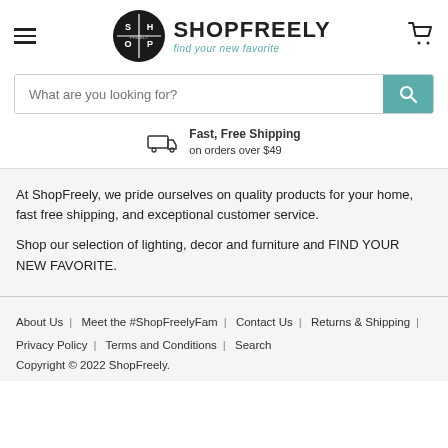[Figure (logo): ShopFreely logo with circular badge and brand name text 'SHOPFREELY find your new favorite']
What are you looking for?
Fast, Free Shipping on orders over $49
At ShopFreely, we pride ourselves on quality products for your home, fast free shipping, and exceptional customer service.

Shop our selection of lighting, decor and furniture and FIND YOUR NEW FAVORITE.
About Us | Meet the #ShopFreelyFam | Contact Us | Returns & Shipping | Privacy Policy | Terms and Conditions | Search
Copyright © 2022 ShopFreely.